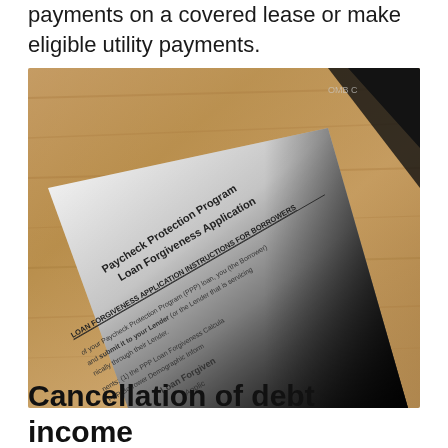payments on a covered lease or make eligible utility payments.
[Figure (photo): Photograph of a Paycheck Protection Program Loan Forgiveness Application form printed on white paper, placed on a wooden surface. The document text visible includes 'Paycheck Protection Program Loan Forgiveness Application', 'LOAN FORGIVENESS APPLICATION INSTRUCTIONS FOR BORROWERS', and partial text about submitting to your Lender.]
Cancellation of debt income